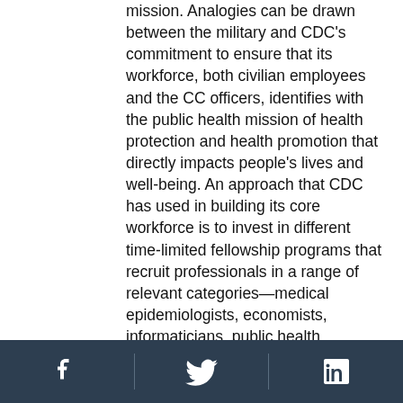mission. Analogies can be drawn between the military and CDC's commitment to ensure that its workforce, both civilian employees and the CC officers, identifies with the public health mission of health protection and health promotion that directly impacts people's lives and well-being. An approach that CDC has used in building its core workforce is to invest in different time-limited fellowship programs that recruit professionals in a range of relevant categories—medical epidemiologists, economists, informaticians, public health advisors, and managers—who are then exposed to the organizational culture and mission and trained in applying and adapting their specific skills to public health. A majority of graduates from these feeder programs are
Social media icons: Facebook, Twitter, LinkedIn